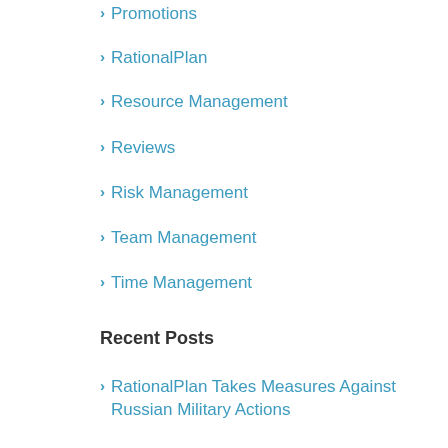Promotions
RationalPlan
Resource Management
Reviews
Risk Management
Team Management
Time Management
Recent Posts
RationalPlan Takes Measures Against Russian Military Actions
RationalPlan 5.9 – New Look and Feel for Web-Based Interface
RationalPlan 5.8 Improves Working With Tasks Within Board Lists